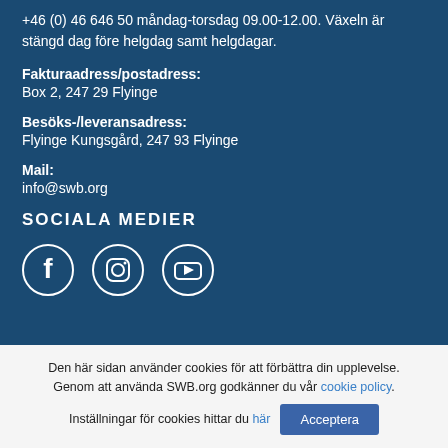+46 (0) 46 646 50 måndag-torsdag 09.00-12.00. Växeln är stängd dag före helgdag samt helgdagar.
Fakturaadress/postadress:
Box 2, 247 29 Flyinge
Besöks-/leveransadress:
Flyinge Kungsgård, 247 93 Flyinge
Mail:
info@swb.org
SOCIALA MEDIER
[Figure (illustration): Social media icons: Facebook, Instagram, YouTube]
Den här sidan använder cookies för att förbättra din upplevelse. Genom att använda SWB.org godkänner du vår cookie policy. Inställningar för cookies hittar du här
Acceptera